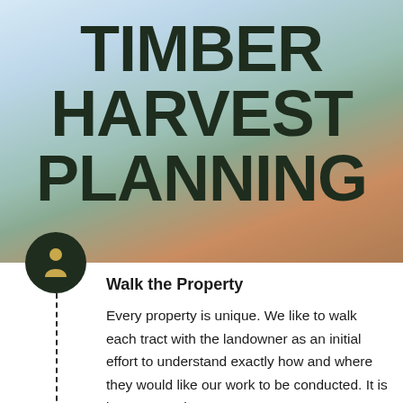[Figure (photo): Background photo of a forest with evergreen trees and a large cut log stump in the foreground, with a light blue sky. Serves as background for the title text.]
TIMBER HARVEST PLANNING
Walk the Property
Every property is unique. We like to walk each tract with the landowner as an initial effort to understand exactly how and where they would like our work to be conducted. It is important to know